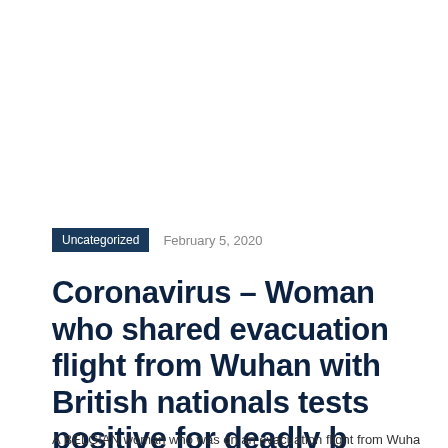Uncategorized   February 5, 2020
Coronavirus – Woman who shared evacuation flight from Wuhan with British nationals tests positive for deadly b
A BELGIAN woman who was on an evacuation flight from Wuhan with British nationals…